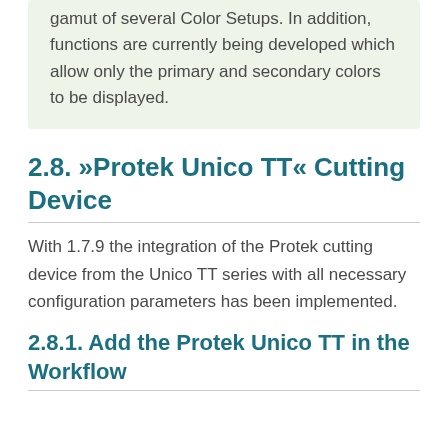gamut of several Color Setups. In addition, functions are currently being developed which allow only the primary and secondary colors to be displayed.
2.8. »Protek Unico TT« Cutting Device
With 1.7.9 the integration of the Protek cutting device from the Unico TT series with all necessary configuration parameters has been implemented.
2.8.1. Add the Protek Unico TT in the Workflow